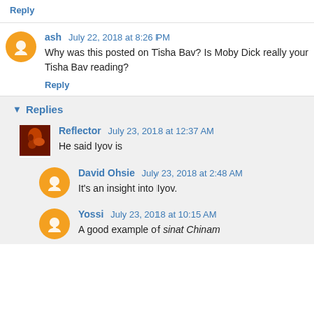Reply
ash July 22, 2018 at 8:26 PM
Why was this posted on Tisha Bav? Is Moby Dick really your Tisha Bav reading?
Reply
Replies
Reflector July 23, 2018 at 12:37 AM
He said Iyov is
David Ohsie July 23, 2018 at 2:48 AM
It's an insight into Iyov.
Yossi July 23, 2018 at 10:15 AM
A good example of sinat Chinam